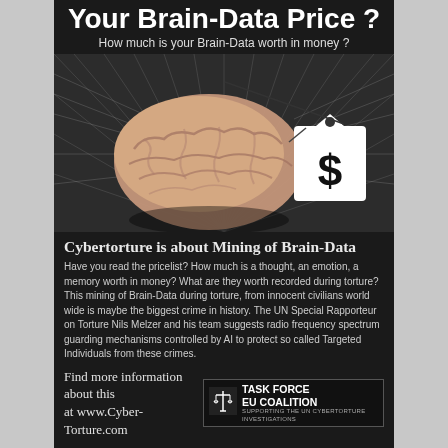Your Brain-Data Price ?
How much is your Brain-Data worth in money ?
[Figure (illustration): A 3D rendered human brain on a dark background with radiating light streaks, alongside a white price tag with a dollar sign symbol]
Cybertorture is about Mining of Brain-Data
Have you read the pricelist? How much is a thought, an emotion, a memory worth in money? What are they worth recorded during torture? This mining of Brain-Data during torture, from innocent civilians world wide is maybe the biggest crime in history. The UN Special Rapporteur on Torture Nils Melzer and his team suggests radio frequency spectrum guarding mechanisms controlled by AI to protect so called Targeted Individuals from these crimes.
Find more information about this at www.Cyber-Torture.com
[Figure (logo): Task Force EU Coalition logo with scales of justice icon]